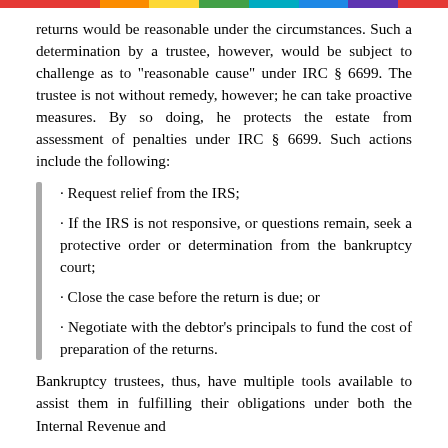returns would be reasonable under the circumstances. Such a determination by a trustee, however, would be subject to challenge as to "reasonable cause" under IRC § 6699. The trustee is not without remedy, however; he can take proactive measures. By so doing, he protects the estate from assessment of penalties under IRC § 6699. Such actions include the following:
· Request relief from the IRS;
· If the IRS is not responsive, or questions remain, seek a protective order or determination from the bankruptcy court;
· Close the case before the return is due; or
· Negotiate with the debtor's principals to fund the cost of preparation of the returns.
Bankruptcy trustees, thus, have multiple tools available to assist them in fulfilling their obligations under both the Internal Revenue and